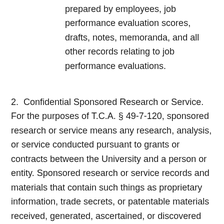prepared by employees, job performance evaluation scores, drafts, notes, memoranda, and all other records relating to job performance evaluations.
2.  Confidential Sponsored Research or Service. For the purposes of T.C.A. § 49-7-120, sponsored research or service means any research, analysis, or service conducted pursuant to grants or contracts between the University and a person or entity. Sponsored research or service records and materials that contain such things as proprietary information, trade secrets, or patentable materials received, generated, ascertained, or discovered during the course of research or service shall not be open for public